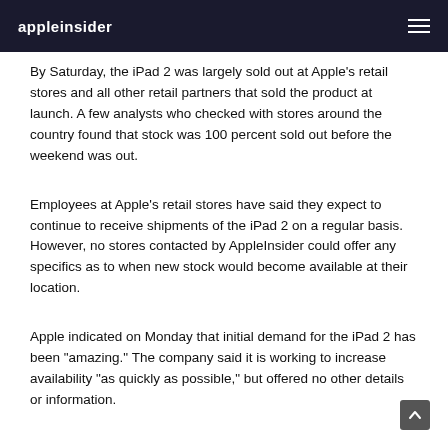appleinsider
By Saturday, the iPad 2 was largely sold out at Apple's retail stores and all other retail partners that sold the product at launch. A few analysts who checked with stores around the country found that stock was 100 percent sold out before the weekend was out.
Employees at Apple's retail stores have said they expect to continue to receive shipments of the iPad 2 on a regular basis. However, no stores contacted by AppleInsider could offer any specifics as to when new stock would become available at their location.
Apple indicated on Monday that initial demand for the iPad 2 has been "amazing." The company said it is working to increase availability "as quickly as possible," but offered no other details or information.